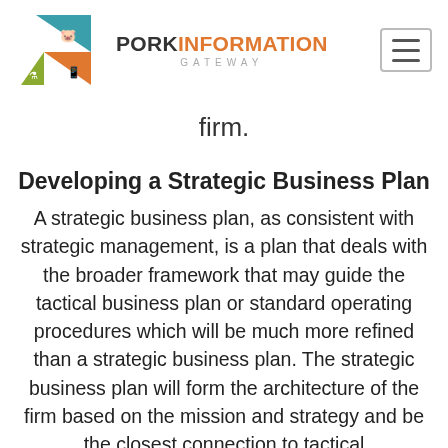[Figure (logo): Pork Information Gateway logo with triangular geometric shapes in teal, orange, and green containing icons of a pig, flask, and mobile phone, alongside the text PORK INFORMATION GATEWAY]
firm.
Developing a Strategic Business Plan
A strategic business plan, as consistent with strategic management, is a plan that deals with the broader framework that may guide the tactical business plan or standard operating procedures which will be much more refined than a strategic business plan. The strategic business plan will form the architecture of the firm based on the mission and strategy and be the closest connection to tactical